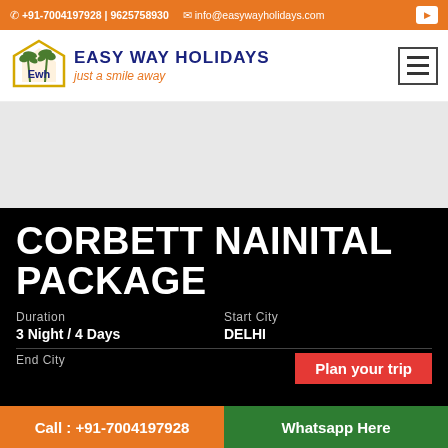+91-7004197928 | 9625758930  info@easywayholidays.com
[Figure (logo): Easy Way Holidays logo with palm tree and house graphic, pentagon shape, text 'EASY WAY HOLIDAYS' and tagline 'just a smile away']
[Figure (illustration): Banner/hero image area (light gray placeholder)]
CORBETT NAINITAL PACKAGE
Duration
Start City
3 Night / 4 Days
DELHI
End City
Plan your trip
Call : +91-7004197928  Whatsapp Here